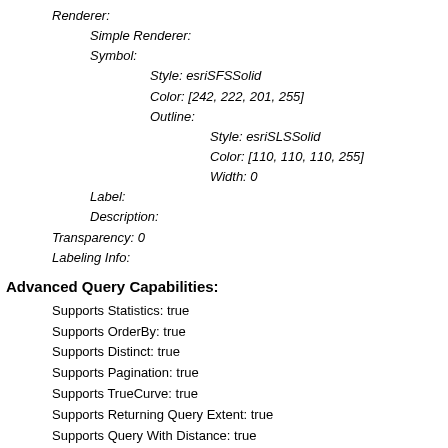Renderer:
Simple Renderer:
Symbol:
Style: esriSFSSolid
Color: [242, 222, 201, 255]
Outline:
Style: esriSLSSolid
Color: [110, 110, 110, 255]
Width: 0
Label:
Description:
Transparency: 0
Labeling Info:
Advanced Query Capabilities:
Supports Statistics: true
Supports OrderBy: true
Supports Distinct: true
Supports Pagination: true
Supports TrueCurve: true
Supports Returning Query Extent: true
Supports Query With Distance: true
Supports Sql Expression: true
Supports Query With ResultType: false
Supports Returning Geometry Centroid: false
Supports Binning LOD: false
Supports Query With LOD Spatial Reference: false